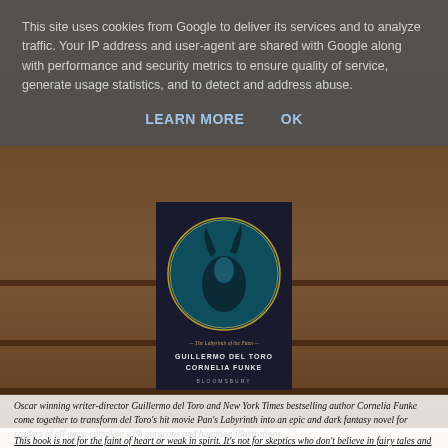This site uses cookies from Google to deliver its services and to analyze traffic. Your IP address and user-agent are shared with Google along with performance and security metrics to ensure quality of service, generate usage statistics, and to detect and address abuse.
LEARN MORE    OK
[Figure (illustration): Book cover of 'Pan's Labyrinth' by Guillermo del Toro and Cornelia Funke, published by Bloomsbury. Dark fantasy illustration showing a faun-like creature and a young woman on a teal/dark blue circular background. Title text reads 'The Labyrinth of the Faun - Guillermo del Toro - Cornelia Funke - Bloomsbury'.]
Oscar winning writer-director Guillermo del Toro and New York Times bestselling author Cornelia Funke come together to transform del Toro's hit movie Pan's Labyrinth into an epic and dark fantasy novel for readers of all ages, complete with gorgeous and haunting illustrations.
This book is not for the faint of heart or weak in spirit. It's not for skeptics who don't believe in fairy tales and the powerful forces of good. It's only for brave and intrepid souls like you, who will stare down evil in all its forms.